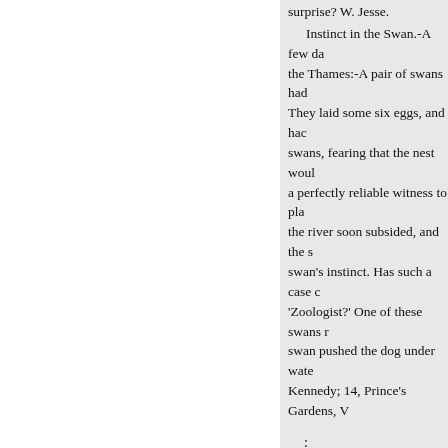surprise? W. Jesse.
Instinct in the Swan.-A few da the Thames:-A pair of swans had They laid some six eggs, and hac swans, fearing that the nest woul a perfectly reliable witness to pla the river soon subsided, and the s swan's instinct. Has such a case c 'Zoologist?' One of these swans r swan pushed the dog under wate Kennedy; 14, Prince's Gardens, V
:
[There are a great number of s Goose and Spoonbill at Aldeburg the Thorpe Mere, in immature bu tolerably easy of approach the bi hereabouts: the flight of the little 5, eleven Canada geese passed o them when too late to procure the peckmires frequenting the mere a (June 14) all mature old birds, ra spoonbills put into Thorpe Mere,